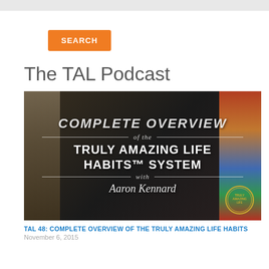SEARCH
The TAL Podcast
[Figure (photo): Podcast thumbnail image with text: COMPLETE OVERVIEW of the TRULY AMAZING LIFE HABITS™ SYSTEM with Aaron Kennard. Background shows open books and stacked colorful books on right side with Truly Amazing Life stamp/badge in bottom right corner.]
TAL 48: COMPLETE OVERVIEW OF THE TRULY AMAZING LIFE HABITS
November 6, 2015